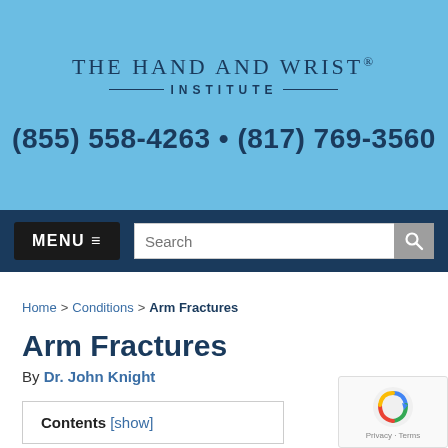[Figure (logo): The Hand and Wrist Institute logo with phone numbers on blue background]
(855) 558-4263 • (817) 769-3560
MENU ≡
Home > Conditions > Arm Fractures
Arm Fractures
By Dr. John Knight
Contents [show]